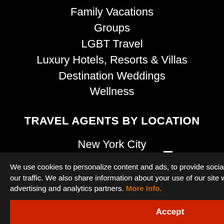Family Vacations
Groups
LGBT Travel
Luxury Hotels, Resorts & Villas
Destination Weddings
Wellness
TRAVEL AGENTS BY LOCATION
New York City
New England
New Jersey
Los Angeles
We use cookies to personalize content and ads, to provide social media features and to analyze our traffic. We also share information about your use of our site with our social media, advertising and analytics partners. More Info.
Accept
CA: 2005026-80; FL: